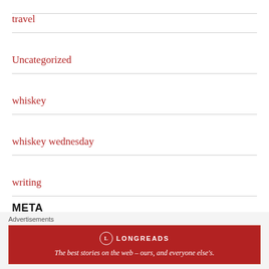travel
Uncategorized
whiskey
whiskey wednesday
writing
META
Register
Advertisements
[Figure (infographic): Longreads advertisement banner: red background with circular logo, text 'LONGREADS' and tagline 'The best stories on the web – ours, and everyone else's.']